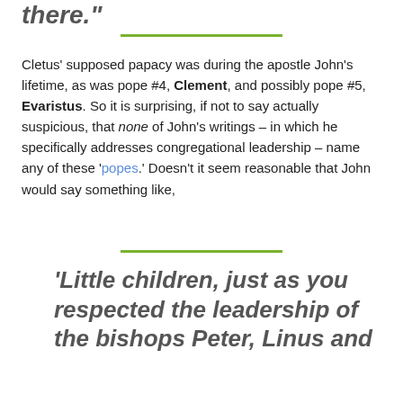there."
Cletus’ supposed papacy was during the apostle John’s lifetime, as was pope #4, Clement, and possibly pope #5, Evaristus. So it is surprising, if not to say actually suspicious, that none of John’s writings – in which he specifically addresses congregational leadership – name any of these ‘popes.’ Doesn’t it seem reasonable that John would say something like,
‘Little children, just as you respected the leadership of the bishops Peter, Linus and